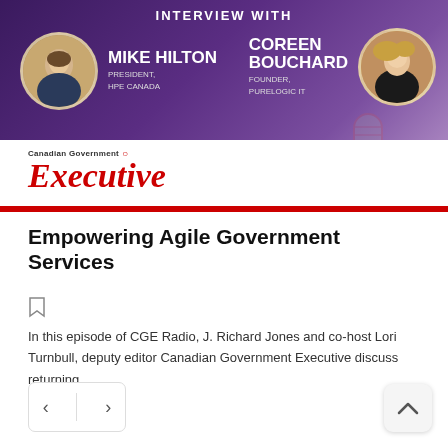[Figure (illustration): Interview banner with purple gradient background featuring two circular portrait photos: Mike Hilton (President, HPE Canada) on the left and Coreen Bouchard (Founder, PureLogic IT) on the right. Text says 'INTERVIEW WITH' at the top. Canadian Government Executive logo with microphone icon below on white background with red bar.]
Empowering Agile Government Services
In this episode of CGE Radio, J. Richard Jones and co-host Lori Turnbull, deputy editor Canadian Government Executive discuss returning...